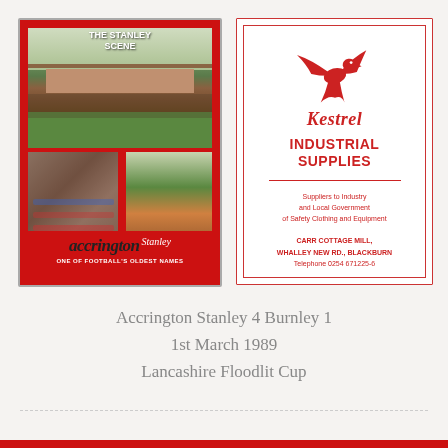[Figure (photo): Two football programme covers side by side. Left: Accrington Stanley 'The Stanley Scene' programme with red cover showing stadium photos, season 1988-89, price 40p, with decorative 'Accrington Stanley' text and 'One of Football's Oldest Names'. Right: Kestrel Industrial Supplies advertisement with red kestrel bird logo, 'Industrial Supplies' heading, and address details for Carr Cottage Mill, Whalley New Rd., Blackburn.]
Accrington Stanley 4 Burnley 1
1st March 1989
Lancashire Floodlit Cup